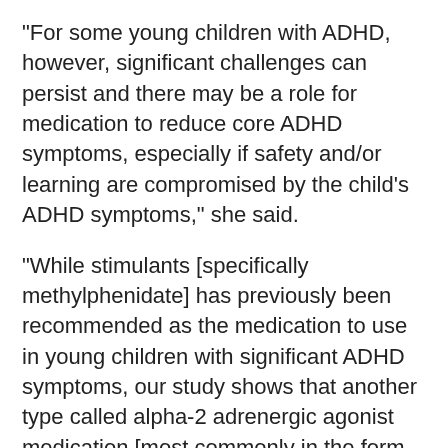"For some young children with ADHD, however, significant challenges can persist and there may be a role for medication to reduce core ADHD symptoms, especially if safety and/or learning are compromised by the child's ADHD symptoms," she said.
"While stimulants [specifically methylphenidate] has previously been recommended as the medication to use in young children with significant ADHD symptoms, our study shows that another type called alpha-2 adrenergic agonist medication [most commonly in the form of guanfacine] may work to reduce ADHD symptoms and be well tolerated in some children," Harstad added.
The new study, which appears in the May 4 issue of Journal of the American Medical Association, is said to be the first to compare the two classes of ADHD drugs in preschoolers. The drugs target different brain chemicals. Neither is U.S. Food and Drug Administration-approved for the treatment of ADHD in this age group.